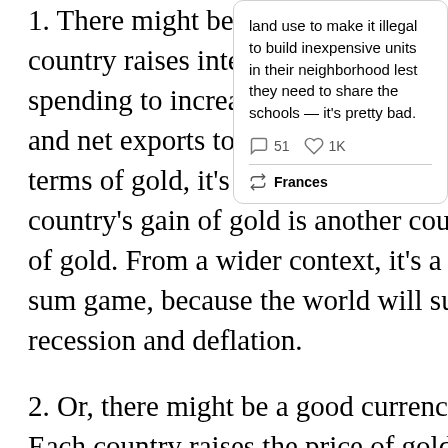1. There might be a bad currency war. Each country raises interest rates and cuts its spending to increase capital account inflows and net exports to attract gold from abroad. In terms of gold, it's a zero sum game. One country's gain of gold is another country's loss of gold. From a wider context, it's a negative sum game, because the world will suffer recession and deflation.
2. Or, there might be a good currency war. Each country raises the price of gold to devalue its currency to increase net exports to attract
[Figure (screenshot): A tweet card showing text about land use being made illegal to build inexpensive units in neighborhoods lest they share schools — it's pretty bad. Shows 51 comments, 1K likes, and a retweet by Frances.]